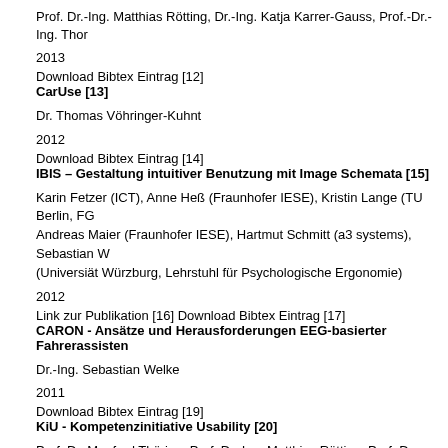Prof. Dr.-Ing. Matthias Rötting, Dr.-Ing. Katja Karrer-Gauss, Prof.-Dr.-Ing. Thor
2013
Download Bibtex Eintrag [12]
CarUse [13]
Dr. Thomas Vöhringer-Kuhnt
2012
Download Bibtex Eintrag [14]
IBIS – Gestaltung intuitiver Benutzung mit Image Schemata [15]
Karin Fetzer (ICT), Anne Heß (Fraunhofer IESE), Kristin Lange (TU Berlin, FG Andreas Maier (Fraunhofer IESE), Hartmut Schmitt (a3 systems), Sebastian W (Universiät Würzburg, Lehrstuhl für Psychologische Ergonomie)
2012
Link zur Publikation [16] Download Bibtex Eintrag [17]
CARON - Ansätze und Herausforderungen EEG-basierter Fahrerassisten
Dr.-Ing. Sebastian Welke
2011
Download Bibtex Eintrag [19]
KiU - Kompetenzinitiative Usability [20]
Prof. Dr. Manfred Thüring, Prof. Dr.-Ing. Matthias Rötting, Prof. Dr. Dietrich Ma Spanner-Ulmer